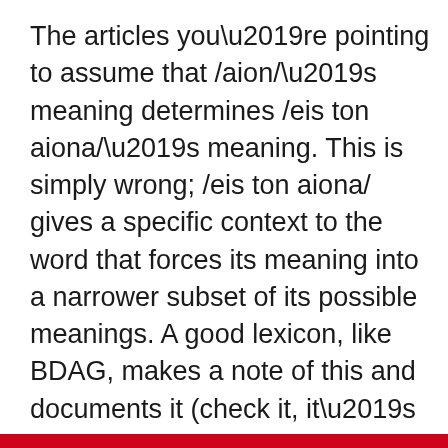The articles you're pointing to assume that /aion/'s meaning determines /eis ton aiona/'s meaning. This is simply wrong; /eis ton aiona/ gives a specific context to the word that forces its meaning into a narrower subset of its possible meanings. A good lexicon, like BDAG, makes a note of this and documents it (check it, it's true). The logical derivation of /eis ton aiona/ is pretty simple; its gloss is either “for the age” or “into the world” (BTW it's used one time in the Bible the latter way), and if “the age” is unspecified, it...